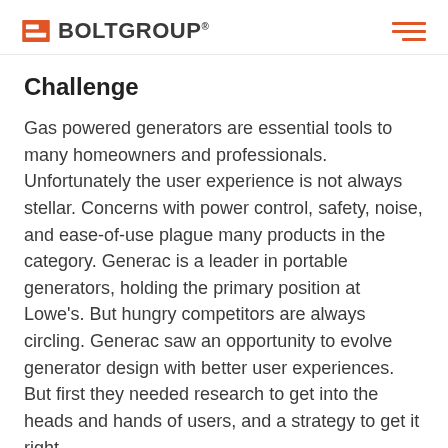BOLTGROUP®
Challenge
Gas powered generators are essential tools to many homeowners and professionals. Unfortunately the user experience is not always stellar. Concerns with power control, safety, noise, and ease-of-use plague many products in the category. Generac is a leader in portable generators, holding the primary position at Lowe's. But hungry competitors are always circling. Generac saw an opportunity to evolve generator design with better user experiences. But first they needed research to get into the heads and hands of users, and a strategy to get it right.
Solution